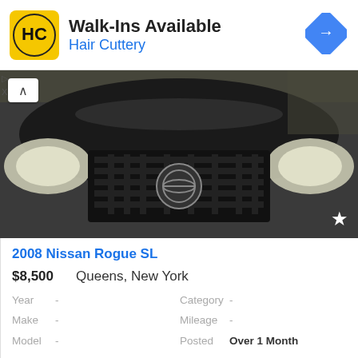[Figure (infographic): Hair Cuttery advertisement banner with yellow HC logo, text 'Walk-Ins Available' and 'Hair Cuttery', and blue navigation diamond icon]
▷
X
[Figure (photo): Front view of a dark/black Nissan Rogue SUV showing headlights, grille, and Nissan emblem]
2008 Nissan Rogue SL
$8,500     Queens, New York
Year   -   Category-
Make  -   Mileage  -
Model  -   Posted  Over 1 Month
[Figure (photo): Side/rear view of a dark blue sedan car in a parking lot with CLOSE button overlay]